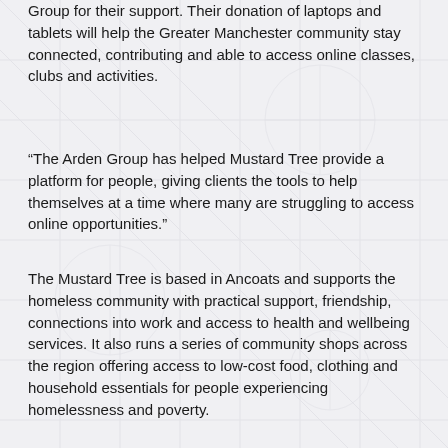Group for their support. Their donation of laptops and tablets will help the Greater Manchester community stay connected, contributing and able to access online classes, clubs and activities.
“The Arden Group has helped Mustard Tree provide a platform for people, giving clients the tools to help themselves at a time where many are struggling to access online opportunities.”
The Mustard Tree is based in Ancoats and supports the homeless community with practical support, friendship, connections into work and access to health and wellbeing services. It also runs a series of community shops across the region offering access to low-cost food, clothing and household essentials for people experiencing homelessness and poverty.